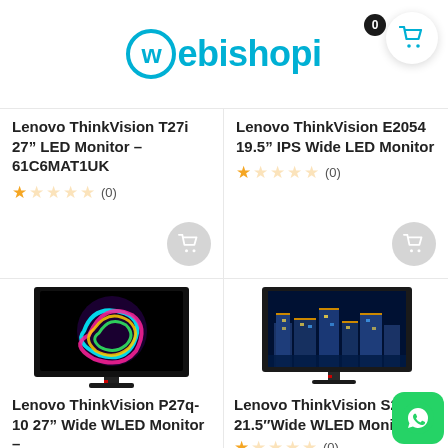Webishopi
Lenovo ThinkVision T27i 27" LED Monitor – 61C6MAT1UK
(0)
Lenovo ThinkVision E2054 19.5" IPS Wide LED Monitor
(0)
[Figure (photo): Lenovo ThinkVision P27q-10 monitor with colorful swirling light display on screen]
Lenovo ThinkVision P27q-10 27" Wide WLED Monitor –
(0)
[Figure (photo): Lenovo ThinkVision S22 monitor with blue/gold digital cityscape on screen]
Lenovo ThinkVision S22 21.5"Wide WLED Monit
(0)